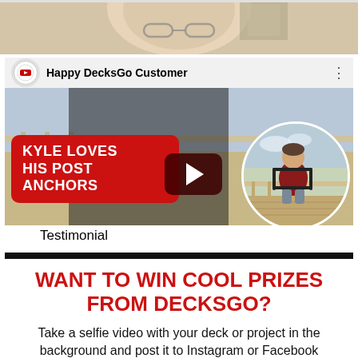[Figure (photo): Partial close-up of a person's face (older man with glasses, white background), cropped at top of page]
[Figure (screenshot): YouTube video thumbnail for 'Happy DecksGo Customer' testimonial video. Features a red badge reading 'KYLE LOVES HIS POST ANCHORS', a play button, and a circular photo of a man sitting on a deck.]
Testimonial
WANT TO WIN COOL PRIZES FROM DECKSGO?
Take a selfie video with your deck or project in the background and post it to Instagram or Facebook